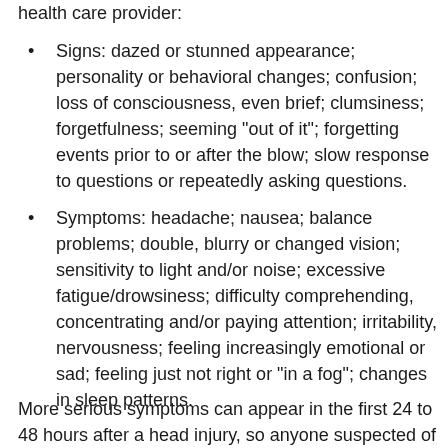health care provider:
Signs: dazed or stunned appearance; personality or behavioral changes; confusion; loss of consciousness, even brief; clumsiness; forgetfulness; seeming "out of it"; forgetting events prior to or after the blow; slow response to questions or repeatedly asking questions.
Symptoms: headache; nausea; balance problems; double, blurry or changed vision; sensitivity to light and/or noise; excessive fatigue/drowsiness; difficulty comprehending, concentrating and/or paying attention; irritability, nervousness; feeling increasingly emotional or sad; feeling just not right or "in a fog"; changes in sleep patterns.
More serious symptoms can appear in the first 24 to 48 hours after a head injury, so anyone suspected of